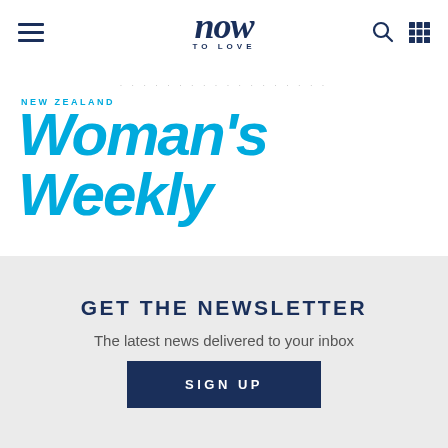now TO LOVE
[Figure (logo): New Zealand Woman's Weekly logo in cyan/blue italic bold font with horizontal rules on either side]
GET THE NEWSLETTER
The latest news delivered to your inbox
SIGN UP